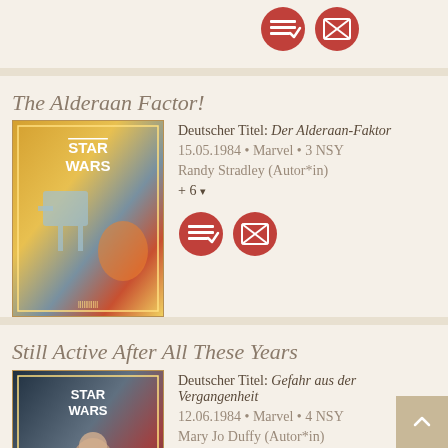[Figure (other): Two circular red icon badges at top of page (partial card)]
The Alderaan Factor!
Deutscher Titel: Der Alderaan-Faktor
15.05.1984 • Marvel • 3 NSY
Randy Stradley (Autor*in)
+ 6
[Figure (other): Star Wars comic book cover for The Alderaan Factor]
[Figure (other): Two circular red icon badges]
Still Active After All These Years
Deutscher Titel: Gefahr aus der Vergangenheit
12.06.1984 • Marvel • 4 NSY
Mary Jo Duffy (Autor*in)
+ 5
[Figure (other): Star Wars comic book cover for Still Active After All These Years]
[Figure (other): Two circular red icon badges]
Figurehead
Deutscher Titel: Galionsfigur
[Figure (other): Star Wars comic book cover for Figurehead (partial)]